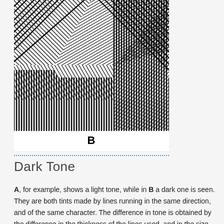[Figure (illustration): Black and white hatching pattern image showing multiple sections of parallel lines running in different diagonal and vertical directions, creating a dark tone effect. Labeled 'B' at the bottom center.]
Dark Tone
A, for example, shows a light tone, while in B a dark one is seen. They are both tints made by lines running in the same direction, and of the same character. The difference in tone is obtained by the difference in the thickness of the lines used, and in the size of the white spaces showing between. In A, the black lines are thin and the white lines between thick while in B, the black lines are